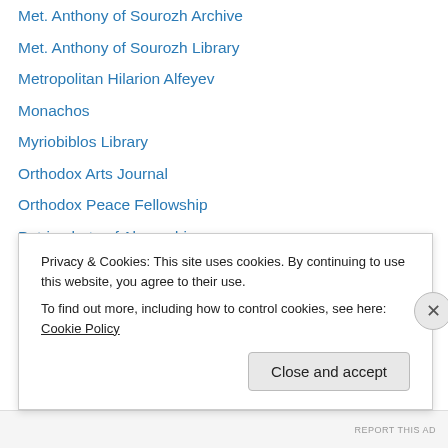Met. Anthony of Sourozh Archive
Met. Anthony of Sourozh Library
Metropolitan Hilarion Alfeyev
Monachos
Myriobiblos Library
Orthodox Arts Journal
Orthodox Peace Fellowship
Patriarchate of Alexandria
Podcast Orthodoxe Francophone
Protopresbyter Alexander Schmemann
Rule of St Benedict
Scriptorium Scourmontois
Thandanani list
The Tertullian Project
Privacy & Cookies: This site uses cookies. By continuing to use this website, you agree to their use.
To find out more, including how to control cookies, see here: Cookie Policy
REPORT THIS AD